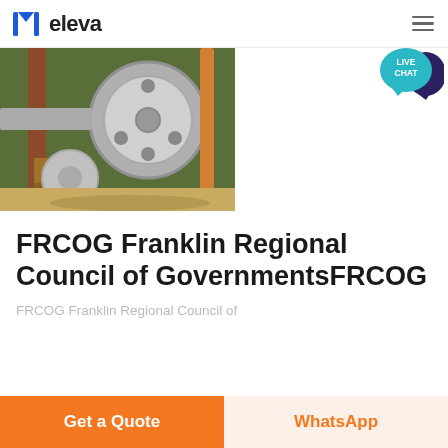eleva
[Figure (photo): Industrial machinery photograph showing large metal wheel/pulley mechanism with pipes and wooden structures in an outdoor/semi-outdoor setting]
FRCOG Franklin Regional Council of GovernmentsFRCOG
FRCOG Franklin Regional Council of
Get a Quote
WhatsApp